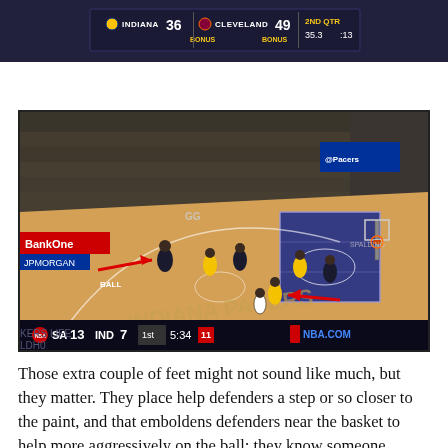[Figure (screenshot): NBA game broadcast screenshot showing scoreboard: INDIANA 36, CLEVELAND 49, 2ND QTR 35.3, :13. Both teams showing BONUS.]
[Figure (screenshot): NBA basketball game footage from Indiana Pacers home court (Bankers Life Fieldhouse). Two red arrows overlaid on the image pointing to players. Text 'BALL' labeled on court. Bottom scorebar shows SA 13, IND 7, 1ST 5:34, NBA.COM.]
Those extra couple of feet might not sound like much, but they matter. They place help defenders a step or so closer to the paint, and that emboldens defenders near the basket to help more aggressively on the ball: they know someone